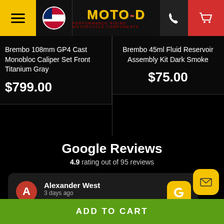MOTO-D | PERFORMANCE RIDING MOTORCYCLE COMPONENTS
Brembo 108mm GP4 Cast Monobloc Caliper Set Front Titanium Gray
$799.00
Brembo 45ml Fluid Reservoir Assembly Kit Dark Smoke
$75.00
Google Reviews
4.9 rating out of 95 reviews
Alexander West
3 days ago
ADD TO CART